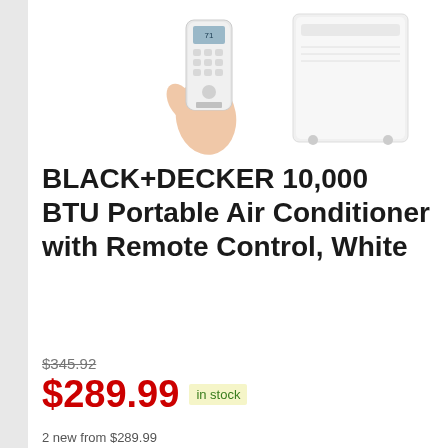[Figure (photo): Product photo showing a hand holding a white remote control with LCD display, and a white portable air conditioner unit with wheels on the right side.]
BLACK+DECKER 10,000 BTU Portable Air Conditioner with Remote Control, White
$345.92
$289.99 in stock
2 new from $289.99